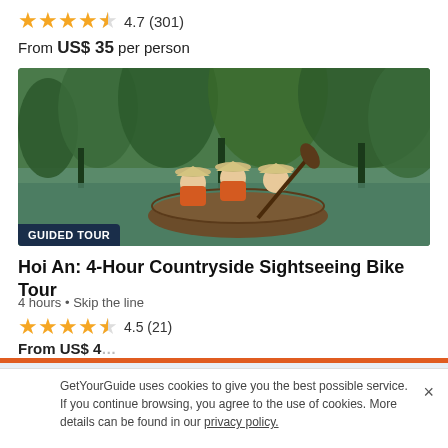★★★★½ 4.7 (301)
From US$ 35 per person
[Figure (photo): Three people in a round boat on a green river waterway surrounded by palm trees, wearing orange life jackets and traditional Vietnamese conical hats. Label: GUIDED TOUR]
Hoi An: 4-Hour Countryside Sightseeing Bike Tour
4 hours • Skip the line
★★★★½ 4.5 (21)
From US$ 4…
ⓘ If you book your Tour & Activity within 24 hours of booking your easyJet flight you will purchase what is known as a Linked Travel Arrangement. This means…
GetYourGuide uses cookies to give you the best possible service. If you continue browsing, you agree to the use of cookies. More details can be found in our privacy policy.